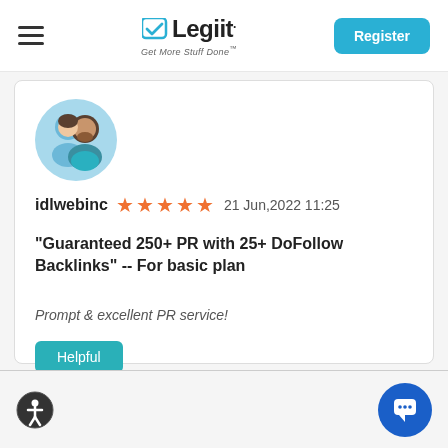Legiit – Get More Stuff Done™
[Figure (illustration): User avatar: two cartoon figures (person with beard and person without) on a blue circular background]
idlwebinc  ★★★★★  21 Jun,2022 11:25
"Guaranteed 250+ PR with 25+ DoFollow Backlinks" -- For basic plan
Prompt & excellent PR service!
Helpful
Accessibility icon | Chat widget